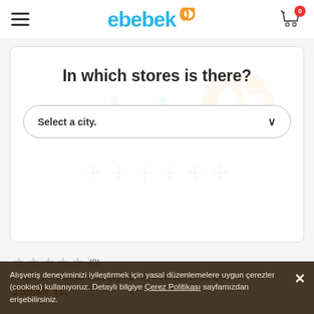ebebek
In which stores is there?
Select a city.
★★★★★ (0)
Philips Avent Ultra Air Baby Boy Pacifier 0-6 m 2 pcs - Coloured
169,99 TL
Alışveriş deneyiminizi iyileştirmek için yasal düzenlemelere uygun çerezler (cookies) kullanıyoruz. Detaylı bilgiye Çerez Politikası sayfamızdan erişebilirsiniz.